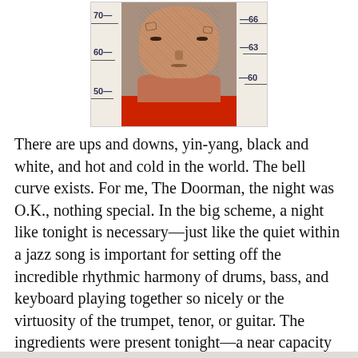[Figure (photo): A mugshot-style booking photo of a heavily tattooed man with face tattoos, wearing a red shirt, shown against a height measurement board with markings at 50, 60, 70 on the left side and 60, 63, 66 on the right side.]
There are ups and downs, yin-yang, black and white, and hot and cold in the world. The bell curve exists. For me, The Doorman, the night was O.K., nothing special. In the big scheme, a night like tonight is necessary—just like the quiet within a jazz song is important for setting off the incredible rhythmic harmony of drums, bass, and keyboard playing together so nicely or the virtuosity of the trumpet, tenor, or guitar. The ingredients were present tonight—a near capacity crowd, percussion, keyboard, drums, and trumpet. A guest jazz singer. Everything was squeezed into our cozy club. The music was great, the crowd enjoyed themselves, and our universe seemed to line up for perfect jazz geometry. But for whatever reasons, the night did not shine my shoes.